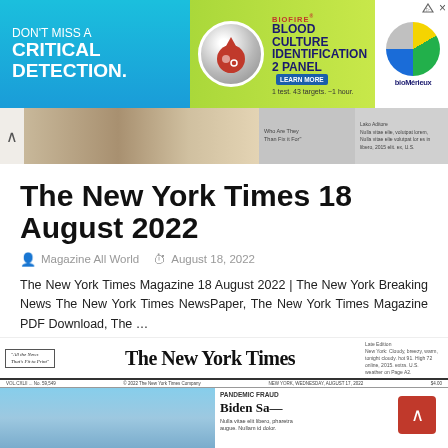[Figure (other): Advertisement banner for BioFire Blood Culture Identification 2 Panel by bioMérieux. Text: DON'T MISS A CRITICAL DETECTION. BIOFIRE® BLOOD CULTURE IDENTIFICATION 2 PANEL. LEARN MORE. 1 test. 43 targets. ~1 hour. bioMérieux logo.]
[Figure (other): Website carousel navigation strip with arrow and thumbnail images]
The New York Times 18 August 2022
Magazine All World   August 18, 2022
The New York Times Magazine 18 August 2022 | The New York Breaking News The New York Times NewsPaper, The New York Times Magazine PDF Download, The …
Read more →
[Figure (other): Preview of The New York Times newspaper front page dated August 17, 2022, showing the masthead 'The New York Times' in blackletter font, with a photo and headline 'PANDEMIC FRAUD' visible at bottom.]